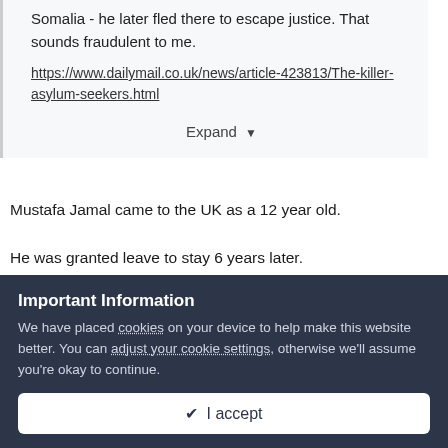Somalia - he later fled there to escape justice.  That sounds fraudulent to me.
https://www.dailymail.co.uk/news/article-423813/The-killer-asylum-seekers.html
Expand
Mustafa Jamal came to the UK as a 12 year old.
He was granted leave to stay 6 years later.
He would at no time have been involved in making any asylum claims, fraudulently or not. It would have been his parents making
Important Information
We have placed cookies on your device to help make this website better. You can adjust your cookie settings, otherwise we'll assume you're okay to continue.
✔ I accept